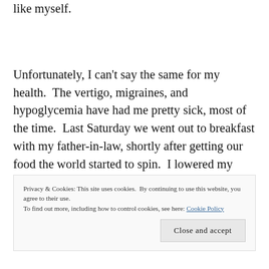like myself.
Unfortunately, I can't say the same for my health.  The vertigo, migraines, and hypoglycemia have had me pretty sick, most of the time.  Last Saturday we went out to breakfast with my father-in-law, shortly after getting our food the world started to spin.  I lowered my head, took my meds,  and told them to continue.  I
Privacy & Cookies: This site uses cookies.  By continuing to use this website, you agree to their use.
To find out more, including how to control cookies, see here: Cookie Policy
Close and accept